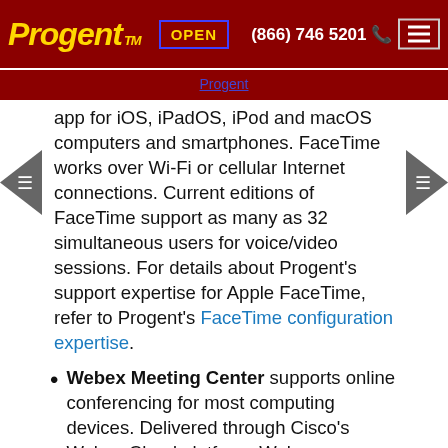Progent™  OPEN  (866) 746 5201
Progent
app for iOS, iPadOS, iPod and macOS computers and smartphones. FaceTime works over Wi-Fi or cellular Internet connections. Current editions of FaceTime support as many as 32 simultaneous users for voice/video sessions. For details about Progent's support expertise for Apple FaceTime, refer to Progent's FaceTime configuration expertise.
Webex Meeting Center supports online conferencing for most computing devices. Delivered through Cisco's Webex Cloud platform, Webex capabilities include sharing discrete content or computer screens, presentations that incorporate rich media such as Microsoft PowerPoint, network-based capture, plus editing and playback for future